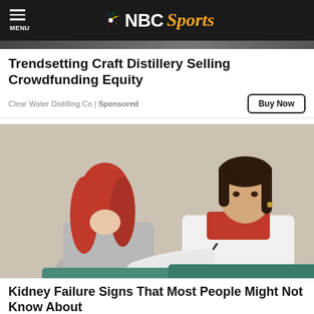NBC Sports
Trendsetting Craft Distillery Selling Crowdfunding Equity
Clear Water Distilling Co | Sponsored
[Figure (photo): A female doctor in a white coat examining the back of a red-haired female patient who is seated and facing away]
Kidney Failure Signs That Most People Might Not Know About